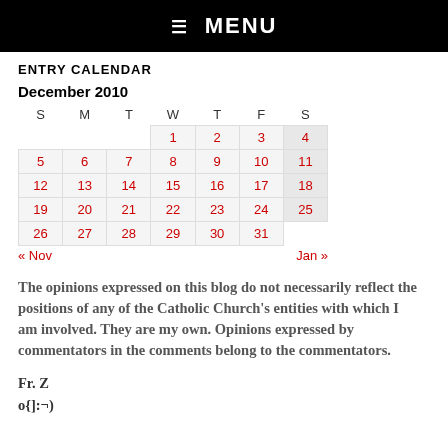☰ MENU
ENTRY CALENDAR
| S | M | T | W | T | F | S |
| --- | --- | --- | --- | --- | --- | --- |
|  |  |  | 1 | 2 | 3 | 4 |
| 5 | 6 | 7 | 8 | 9 | 10 | 11 |
| 12 | 13 | 14 | 15 | 16 | 17 | 18 |
| 19 | 20 | 21 | 22 | 23 | 24 | 25 |
| 26 | 27 | 28 | 29 | 30 | 31 |  |
« Nov    Jan »
The opinions expressed on this blog do not necessarily reflect the positions of any of the Catholic Church's entities with which I am involved. They are my own. Opinions expressed by commentators in the comments belong to the commentators.
Fr. Z
o{]:¬)